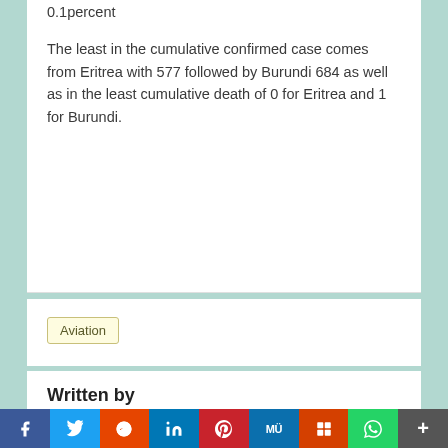0.1percent
The least in the cumulative confirmed case comes from Eritrea with 577 followed by Burundi 684 as well as in the least cumulative death of 0 for Eritrea and 1 for Burundi.
Aviation
Written by
Patoma Admin
f  Twitter  Reddit  in  Pinterest  MW  Mix  WhatsApp  More